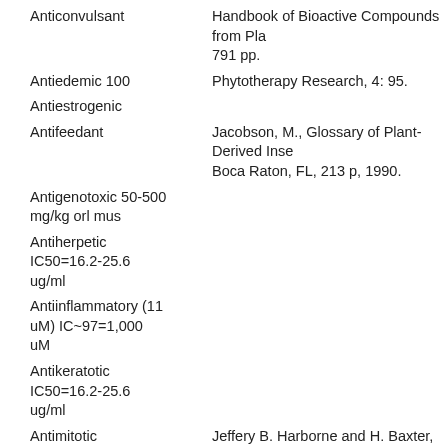| Activity | Reference |
| --- | --- |
| Anticonvulsant | Handbook of Bioactive Compounds from Pla... 791 pp. |
| Antiedemic 100 | Phytotherapy Research, 4: 95. |
| Antiestrogenic |  |
| Antifeedant | Jacobson, M., Glossary of Plant-Derived Inse... Boca Raton, FL, 213 p, 1990. |
| Antigenotoxic 50-500 mg/kg orl mus |  |
| Antiherpetic IC50=16.2-25.6 ug/ml |  |
| Antiinflammatory (11 uM) IC~97=1,000 uM |  |
| Antikeratotic IC50=16.2-25.6 ug/ml |  |
| Antimitotic | Jeffery B. Harborne and H. Baxter, eds. 1983. Handbook of Bioactive Compounds from Pla... 791 pp. |
| Antimutagenic | Economic & Medicinal Plant Research, 6: 23... |
| Antinitrosating |  |
| Antioxidant IC65=30... |  |